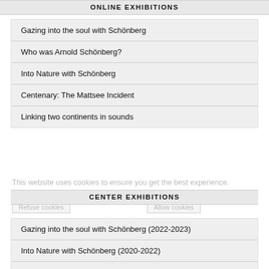ONLINE EXHIBITIONS
Gazing into the soul with Schönberg
Who was Arnold Schönberg?
Into Nature with Schönberg
Centenary: The Mattsee Incident
Linking two continents in sounds
This website uses cookies to ensure you get the best experience. Learn more  Refuse cookies  Allow cookies
CENTER EXHIBITIONS
Gazing into the soul with Schönberg (2022-2023)
Into Nature with Schönberg (2020-2022)
The Musical Idea (2013-2020)